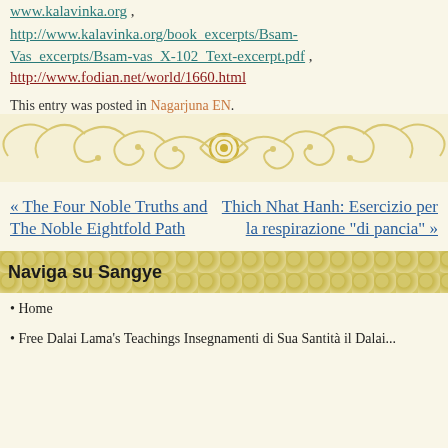www.kalavinka.org , http://www.kalavinka.org/book_excerpts/Bsam-Vas_excerpts/Bsam-vas_X-102_Text-excerpt.pdf , http://www.fodian.net/world/1660.html
This entry was posted in Nagarjuna EN.
[Figure (illustration): Decorative golden floral/scrollwork ornament divider bar]
« The Four Noble Truths and The Noble Eightfold Path
Thich Nhat Hanh: Esercizio per la respirazione "di pancia" »
Naviga su Sangye
Home
Free Dalai Lama's Teachings Insegnamenti di Sua Santità il Dalai...